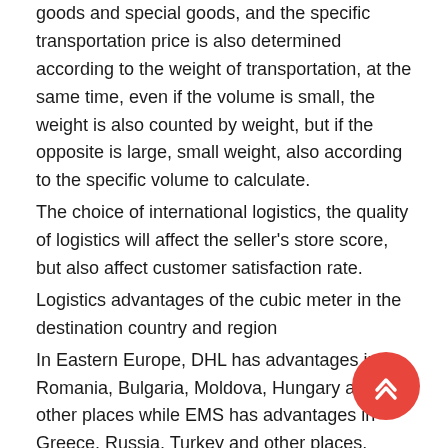goods and special goods, and the specific transportation price is also determined according to the weight of transportation, at the same time, even if the volume is small, the weight is also counted by weight, but if the opposite is large, small weight, also according to the specific volume to calculate.
The choice of international logistics, the quality of logistics will affect the seller's store score, but also affect customer satisfaction rate.
Logistics advantages of the cubic meter in the destination country and region
In Eastern Europe, DHL has advantages in Romania, Bulgaria, Moldova, Hungary and other places while EMS has advantages in Greece, Russia, Turkey and other places. Western Europe, Northern Europe, southern Europe can DHL international express, TNT international express, two kinds of customs clearance capacity. TNT has a clear